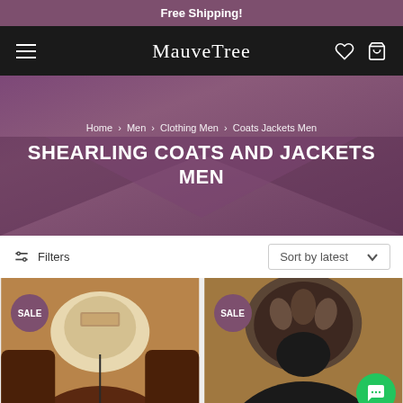Free Shipping!
MauveTree
[Figure (screenshot): Hero banner with mauve/purple background and large V-shape graphic]
Home > Men > Clothing Men > Coats Jackets Men
SHEARLING COATS AND JACKETS MEN
Filters   Sort by latest
[Figure (photo): Brown leather shearling coat with cream fur collar, SALE badge]
[Figure (photo): Black coat with fur-trimmed hood, SALE badge]